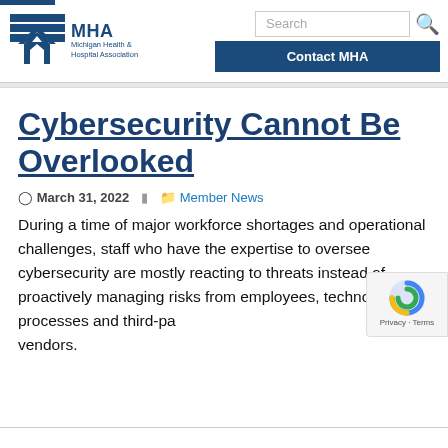MHA Michigan Health & Hospital Association
Cybersecurity Cannot Be Overlooked
March 31, 2022   Member News
During a time of major workforce shortages and operational challenges, staff who have the expertise to oversee cybersecurity are mostly reacting to threats instead of proactively managing risks from employees, technology, processes and third-party vendors.